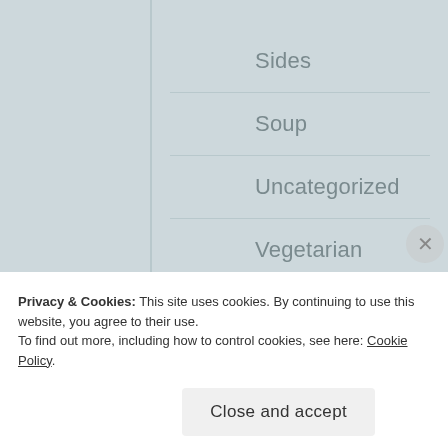Sides
Soup
Uncategorized
Vegetarian
Vintage Darling
Privacy & Cookies: This site uses cookies. By continuing to use this website, you agree to their use.
To find out more, including how to control cookies, see here: Cookie Policy
Close and accept